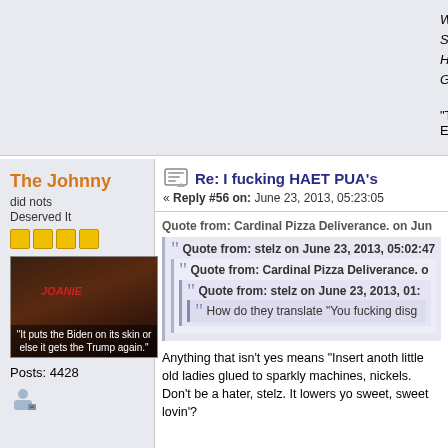Weevil-Infested Badfun Wrongsex Referee From
Slick and Deranged Wombat of Manhood Questi
Hulking Dormouse of Lust and DESPAIR™
Gatling Geyser of Rainbow AIDS
"The only way we can ever change anything is to
Enemy'.
The Johnny
did nots
Deserved It
Posts: 4428
Re: I fucking HAET PUA's
« Reply #56 on: June 23, 2013, 05:23:05
Quote from: Cardinal Pizza Deliverance. on Jun
Quote from: stelz on June 23, 2013, 05:02:47
Quote from: Cardinal Pizza Deliverance. o
Quote from: stelz on June 23, 2013, 01:
How do they translate "You fucking disg
Anything that isn't yes means "Insert anoth little old ladies glued to sparkly machines, nickels. Don't be a hater, stelz. It lowers yo sweet, sweet lovin'?